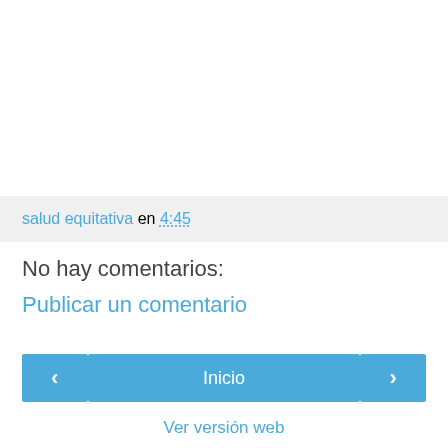salud equitativa en 4:45
No hay comentarios:
Publicar un comentario
‹  Inicio  ›
Ver versión web